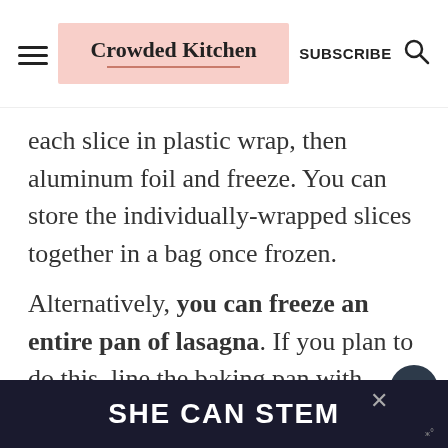Crowded Kitchen | SUBSCRIBE
each slice in plastic wrap, then aluminum foil and freeze. You can store the individually-wrapped slices together in a bag once frozen.
Alternatively, you can freeze an entire pan of lasagna. If you plan to do this, line the baking pan with aluminum foil before baking. Once cool, freeze the lasagna. Once frozen, remove the vegan la...